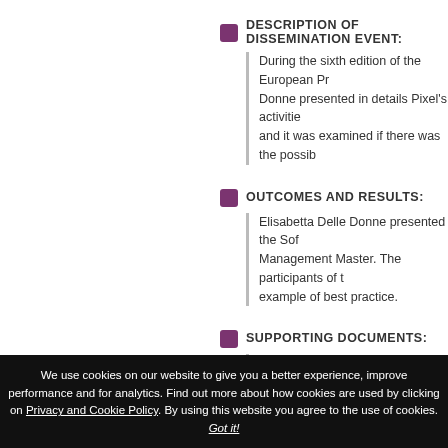DESCRIPTION OF DISSEMINATION EVENT:
During the sixth edition of the European Pr Donne presented in details Pixel's activities and it was examined if there was the possib
OUTCOMES AND RESULTS:
Elisabetta Delle Donne presented the Sof Management Master. The participants of t example of best practice.
SUPPORTING DOCUMENTS:
1. SoftisPed.JPG
back to result
We use cookies on our website to give you a better experience, improve performance and for analytics. Find out more about how cookies are used by clicking on Privacy and Cookie Policy. By using this website you agree to the use of cookies. Got it!